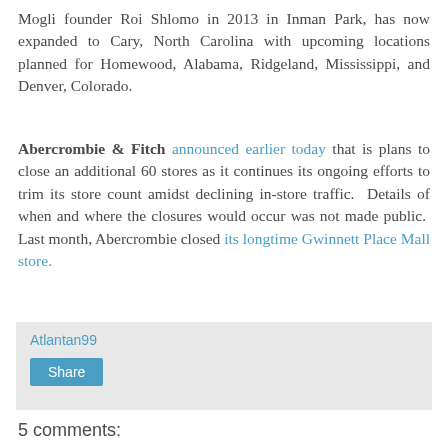Mogli founder Roi Shlomo in 2013 in Inman Park, has now expanded to Cary, North Carolina with upcoming locations planned for Homewood, Alabama, Ridgeland, Mississippi, and Denver, Colorado.
Abercrombie & Fitch announced earlier today that is plans to close an additional 60 stores as it continues its ongoing efforts to trim its store count amidst declining in-store traffic. Details of when and where the closures would occur was not made public. Last month, Abercrombie closed its longtime Gwinnett Place Mall store.
Atlantan99
Share
5 comments: